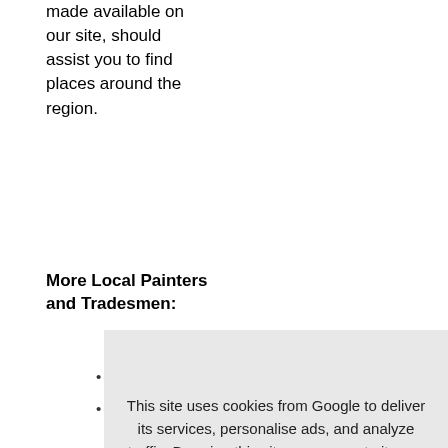made available on our site, should assist you to find places around the region.
More Local Painters and Tradesmen:
Painters Near Adstock Buckinghamshire England
Painters Near Bourne End Buckinghamshire England
[Figure (screenshot): Cookie consent banner overlay: 'This site uses cookies from Google to deliver its services, personalise ads, and analyze traffic. By using this site, you agree to its use of cookies. Learn More   I Agree']
England
Painters Near Marlow Buckinghamshire England